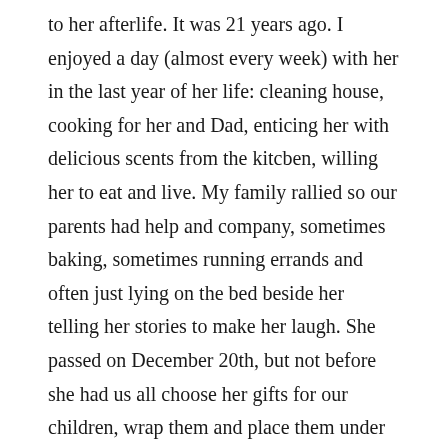to her afterlife. It was 21 years ago. I enjoyed a day (almost every week) with her in the last year of her life: cleaning house, cooking for her and Dad, enticing her with delicious scents from the kitcben, willing her to eat and live. My family rallied so our parents had help and company, sometimes baking, sometimes running errands and often just lying on the bed beside her telling her stories to make her laugh. She passed on December 20th, but not before she had us all choose her gifts for our children, wrap them and place them under the Christmas tree. Being buried on the 23rd of December, she seemed to have ensured the extended family could take time off to travel to our little town to mourn and to spend a longer holiday with their loved ones. Bittersweet? Yes.